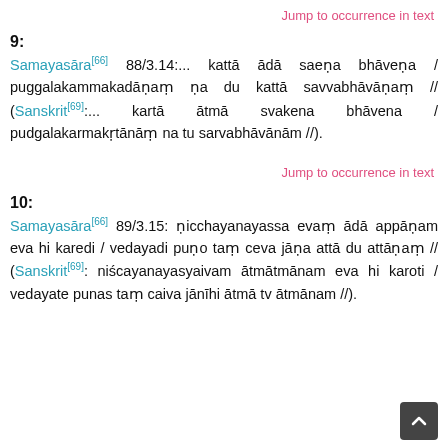Jump to occurrence in text
9:
Samayasāra[66] 88/3.14:... kattā ādā saeṇa bhāveṇa / puggalakammakadāṇaṃ ṇa du kattā savvabhāvāṇaṃ // (Sanskrit[69]:... kartā ātmā svakena bhāvena / pudgalakarmakṛtānāṃ na tu sarvabhāvānām //).
Jump to occurrence in text
10:
Samayasāra[66] 89/3.15: ṇicchayanayassa evaṃ ādā appāṇam eva hi karedi / vedayadi puṇo taṃ ceva jāṇa attā du attāṇaṃ // (Sanskrit[69]: niścayanayasyaivam ātmātmānam eva hi karoti / vedayate punas taṃ caiva jānīhi ātmā tv ātmānam //).